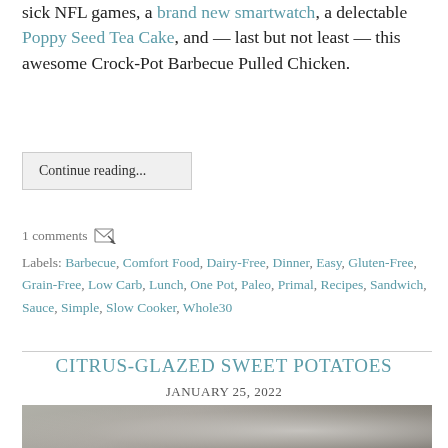sick NFL games, a brand new smartwatch, a delectable Poppy Seed Tea Cake, and — last but not least — this awesome Crock-Pot Barbecue Pulled Chicken.
Continue reading...
1 comments
Labels: Barbecue, Comfort Food, Dairy-Free, Dinner, Easy, Gluten-Free, Grain-Free, Low Carb, Lunch, One Pot, Paleo, Primal, Recipes, Sandwich, Sauce, Simple, Slow Cooker, Whole30
CITRUS-GLAZED SWEET POTATOES
JANUARY 25, 2022
[Figure (photo): Photo of citrus-glazed sweet potatoes dish with a glass visible]